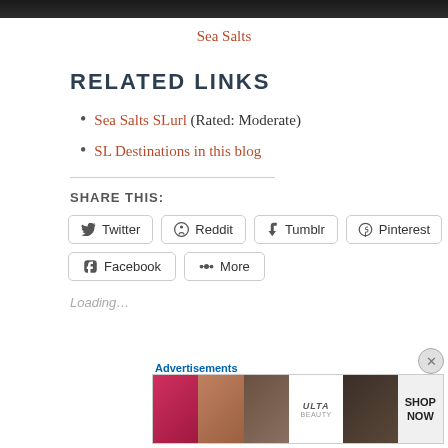[Figure (photo): Top portion of a dark nature/scenery photo, cropped at top of page]
Sea Salts
RELATED LINKS
Sea Salts SLurl (Rated: Moderate)
SL Destinations in this blog
SHARE THIS:
Twitter  Reddit  Tumblr  Pinterest  Facebook  More
Loading…
Advertisements
[Figure (photo): ULTA Beauty advertisement banner with beauty/makeup imagery and SHOP NOW text]